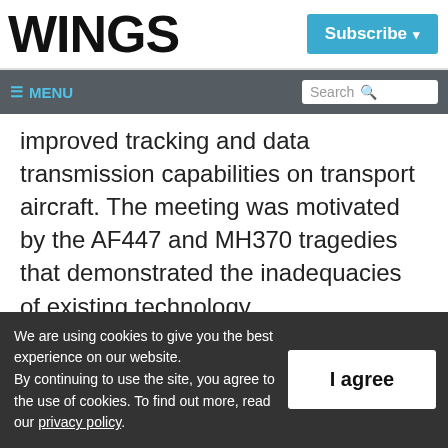WINGS
Subscribe
≡ MENU  Search
improved tracking and data transmission capabilities on transport aircraft. The meeting was motivated by the AF447 and MH370 tragedies that demonstrated the inadequacies of existing technology.
We are using cookies to give you the best experience on our website. By continuing to use the site, you agree to the use of cookies. To find out more, read our privacy policy.